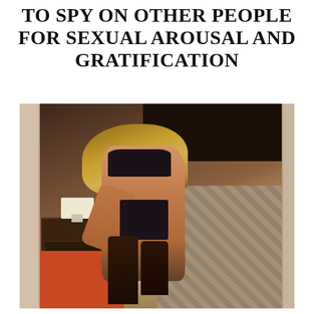TO SPY ON OTHER PEOPLE FOR SEXUAL AROUSAL AND GRATIFICATION
[Figure (photo): A woman in black lingerie and stockings posing in a hotel room, viewed through a doorway. Room contains a nightstand with lamp, red bench/ottoman, and a bed with patterned bedding.]